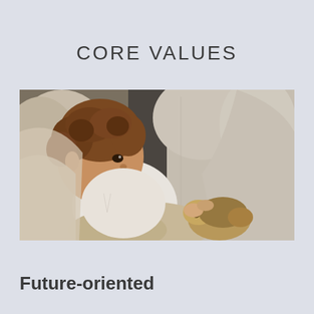CORE VALUES
[Figure (photo): A young child with curly hair sitting in the back seat of a car, holding a stuffed animal toy (a hedgehog or similar), surrounded by beige/grey leather car seats. The child is looking to the side.]
Future-oriented